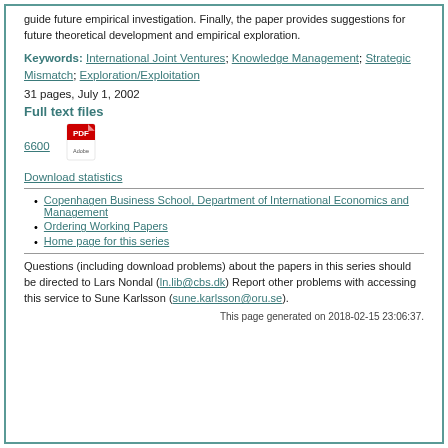guide future empirical investigation. Finally, the paper provides suggestions for future theoretical development and empirical exploration.
Keywords: International Joint Ventures; Knowledge Management; Strategic Mismatch; Exploration/Exploitation
31 pages, July 1, 2002
Full text files
6600 [PDF icon]
Download statistics
Copenhagen Business School, Department of International Economics and Management
Ordering Working Papers
Home page for this series
Questions (including download problems) about the papers in this series should be directed to Lars Nondal (ln.lib@cbs.dk) Report other problems with accessing this service to Sune Karlsson (sune.karlsson@oru.se).
This page generated on 2018-02-15 23:06:37.